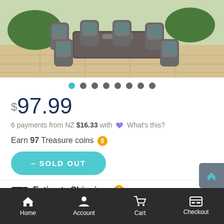[Figure (photo): Outdoor wicker dining set with 8 chairs and a rectangular table on a stone patio]
• (carousel dots, 8 total, first one active/blue)
$97.99
6 payments from NZ $16.33 with ♥ What's this?
Earn 97 Treasure coins 🪙
– SOLD OUT
🚚 Estimate Shipping ?
Home | Account | Cart | Checkout